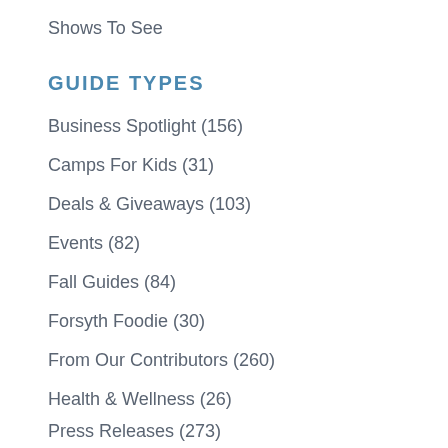Shows To See
GUIDE TYPES
Business Spotlight (156)
Camps For Kids (31)
Deals & Giveaways (103)
Events (82)
Fall Guides (84)
Forsyth Foodie (30)
From Our Contributors (260)
Health & Wellness (26)
Press Releases (273)